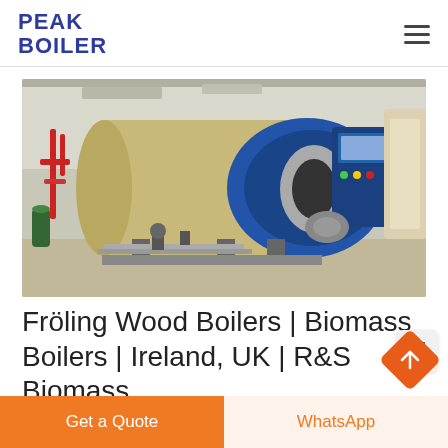PEAK BOILER
[Figure (photo): Industrial boiler unit — large cylindrical tan/beige pressure vessel with blue front burner assembly and control panel, mounted in an industrial facility. Red piping visible on the left side.]
Fröling Wood Boilers | Biomass Boilers | Ireland, UK | R&S Biomass